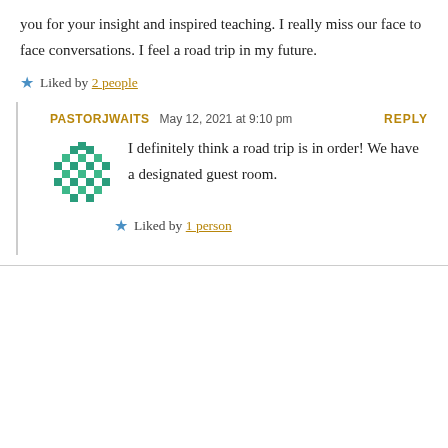you for your insight and inspired teaching. I really miss our face to face conversations. I feel a road trip in my future.
Liked by 2 people
PASTORJWAITS  May 12, 2021 at 9:10 pm  REPLY
I definitely think a road trip is in order! We have a designated guest room.
Liked by 1 person